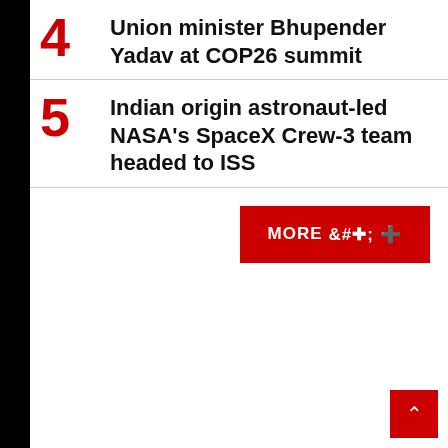4 Union minister Bhupender Yadav at COP26 summit
5 Indian origin astronaut-led NASA's SpaceX Crew-3 team headed to ISS
MORE +